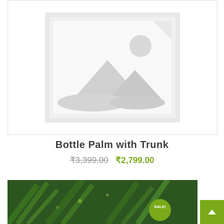[Figure (illustration): Placeholder product image with mountain and sun silhouette inside a grey-bordered frame]
Bottle Palm with Trunk
₹3,399.00  ₹2,799.00
[Figure (photo): Close-up photo of dark green palm leaves with a green circular SALE! badge in the bottom right]